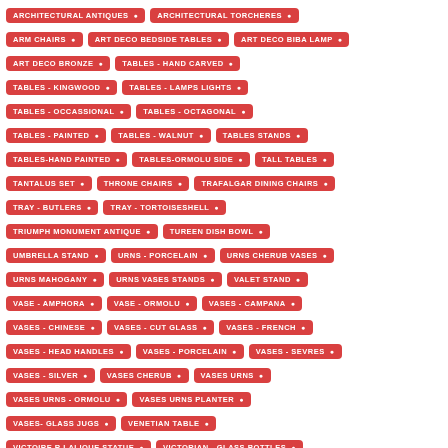ARCHITECTURAL ANTIQUES
ARCHITECTURAL TORCHERES
ARM CHAIRS
ART DECO BEDSIDE TABLES
ART DECO BIBA LAMP
ART DECO BRONZE
TABLES - HAND CARVED
TABLES - KINGWOOD
TABLES - LAMPS LIGHTS
TABLES - OCCASSIONAL
TABLES - OCTAGONAL
TABLES - PAINTED
TABLES - WALNUT
TABLES STANDS
TABLES-HAND PAINTED
TABLES-ORMOLU SIDE
TALL TABLES
TANTALUS SET
THRONE CHAIRS
TRAFALGAR DINING CHAIRS
TRAY - BUTLERS
TRAY - TORTOISESHELL
TRIUMPH MONUMENT ANTIQUE
TUREEN DISH BOWL
UMBRELLA STAND
URNS - PORCELAIN
URNS CHERUB VASES
URNS MAHOGANY
URNS VASES STANDS
VALET STAND
VASE - AMPHORA
VASE - ORMOLU
VASES - CAMPANA
VASES - CHINESE
VASES - CUT GLASS
VASES - FRENCH
VASES - HEAD HANDLES
VASES - PORCELAIN
VASES - SEVRES
VASES - SILVER
VASES CHERUB
VASES URNS
VASES URNS - ORMOLU
VASES URNS PLANTER
VASES- GLASS JUGS
VENETIAN TABLE
VICTOIRE R LALIQUE STATUE
VICTORIAN - GLASS BOTTLES
VICTORIAN - WALNUT
VICTORIAN BENCHES
VICTORIAN DESK
VICTORIAN DINING CHAIRS
VICTORIAN DINING TABLE